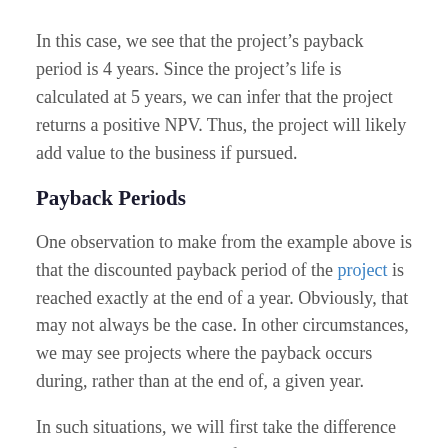In this case, we see that the project's payback period is 4 years. Since the project's life is calculated at 5 years, we can infer that the project returns a positive NPV. Thus, the project will likely add value to the business if pursued.
Payback Periods
One observation to make from the example above is that the discounted payback period of the project is reached exactly at the end of a year. Obviously, that may not always be the case. In other circumstances, we may see projects where the payback occurs during, rather than at the end of, a given year.
In such situations, we will first take the difference between the year-end cash flow and the initial cost left to reduce. Next, we divide the number by the year-end cash flow in order to get the percentage of